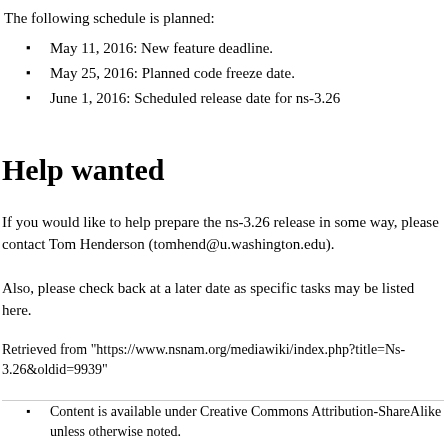The following schedule is planned:
May 11, 2016: New feature deadline.
May 25, 2016: Planned code freeze date.
June 1, 2016: Scheduled release date for ns-3.26
Help wanted
If you would like to help prepare the ns-3.26 release in some way, please contact Tom Henderson (tomhend@u.washington.edu).
Also, please check back at a later date as specific tasks may be listed here.
Retrieved from "https://www.nsnam.org/mediawiki/index.php?title=Ns-3.26&oldid=9939"
Content is available under Creative Commons Attribution-ShareAlike unless otherwise noted.